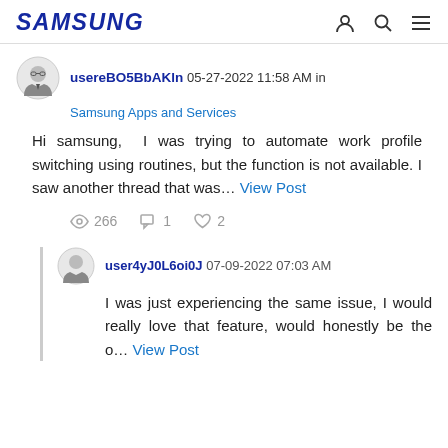SAMSUNG
usereBO5BbAKln 05-27-2022 11:58 AM in
Samsung Apps and Services
Hi samsung, I was trying to automate work profile switching using routines, but the function is not available. I saw another thread that was... View Post
266 views, 1 comment, 2 likes
user4yJ0L6oi0J 07-09-2022 07:03 AM
I was just experiencing the same issue, I would really love that feature, would honestly be the o... View Post